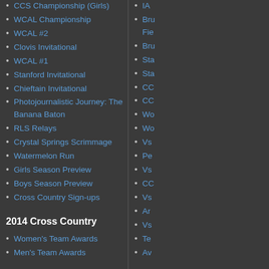CCS Championship (Girls)
WCAL Championship
WCAL #2
Clovis Invitational
WCAL #1
Stanford Invitational
Chieftain Invitational
Photojournalistic Journey: The Banana Baton
RLS Relays
Crystal Springs Scrimmage
Watermelon Run
Girls Season Preview
Boys Season Preview
Cross Country Sign-ups
2014 Cross Country
Women's Team Awards
Men's Team Awards
IAA...
Bru... Fie...
Bru...
Sta...
Sta...
CC...
CC...
Wo...
Wo...
Vs...
Pe...
Vs...
CC...
Vs...
Ar...
Vs...
Te...
Av...